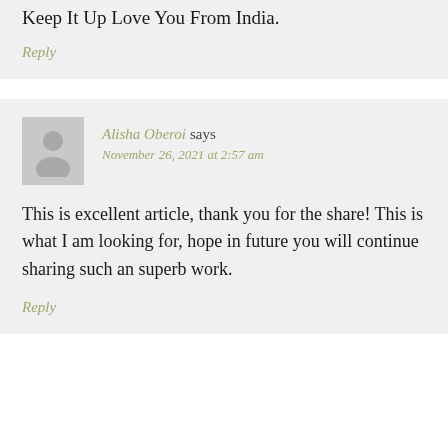Keep It Up Love You From India.
Reply
Alisha Oberoi says
November 26, 2021 at 2:57 am
This is excellent article, thank you for the share! This is what I am looking for, hope in future you will continue sharing such an superb work.
Reply